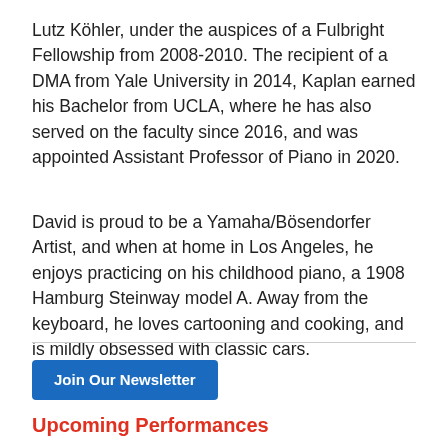Lutz Köhler, under the auspices of a Fulbright Fellowship from 2008-2010. The recipient of a DMA from Yale University in 2014, Kaplan earned his Bachelor from UCLA, where he has also served on the faculty since 2016, and was appointed Assistant Professor of Piano in 2020.
David is proud to be a Yamaha/Bösendorfer Artist, and when at home in Los Angeles, he enjoys practicing on his childhood piano, a 1908 Hamburg Steinway model A. Away from the keyboard, he loves cartooning and cooking, and is mildly obsessed with classic cars.
Join Our Newsletter
Upcoming Performances